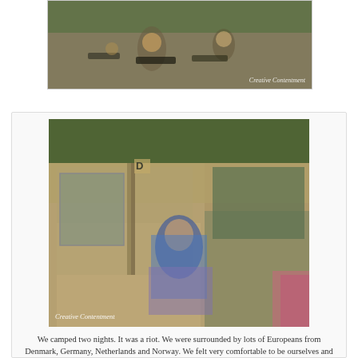[Figure (photo): Children playing or setting up sleeping bags/gear on the ground outdoors under a shelter. Watermark reads 'Creative Contentment'.]
[Figure (photo): A man sitting in the open sliding door of a van holding a baby, with trees visible in the background. Watermark reads 'Creative Contentment'.]
We camped two nights. It was a riot. We were surrounded by lots of Europeans from Denmark, Germany, Netherlands and Norway. We felt very comfortable to be ourselves and very safe. It was a delightful experience.
The tent only fit three of us so Dave and our little guy slept in our van.
What did I tell you... string bean budget. So many campers came so well